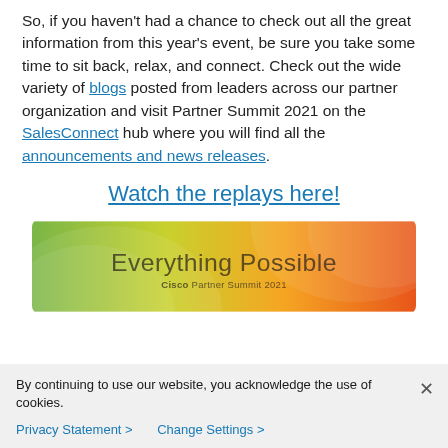So, if you haven't had a chance to check out all the great information from this year's event, be sure you take some time to sit back, relax, and connect. Check out the wide variety of blogs posted from leaders across our partner organization and visit Partner Summit 2021 on the SalesConnect hub where you will find all the announcements and news releases.
Watch the replays here!
[Figure (illustration): Cisco Partner Summit 2021 banner with gradient background (green to yellow to orange) and text 'Everything Possible' with subtitle 'Cisco Partner Summit 2021']
By continuing to use our website, you acknowledge the use of cookies.
Privacy Statement > Change Settings >